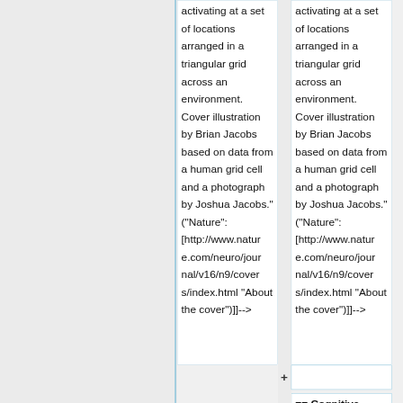activating at a set of locations arranged in a triangular grid across an environment. Cover illustration by Brian Jacobs based on data from a human grid cell and a photograph by Joshua Jacobs." ("Nature": [http://www.nature.com/neuro/journal/v16/n9/covers/index.html "About the cover"])]]-->
activating at a set of locations arranged in a triangular grid across an environment. Cover illustration by Brian Jacobs based on data from a human grid cell and a photograph by Joshua Jacobs." ("Nature": [http://www.nature.com/neuro/journal/v16/n9/covers/index.html "About the cover"])]]-->
== Cognitive